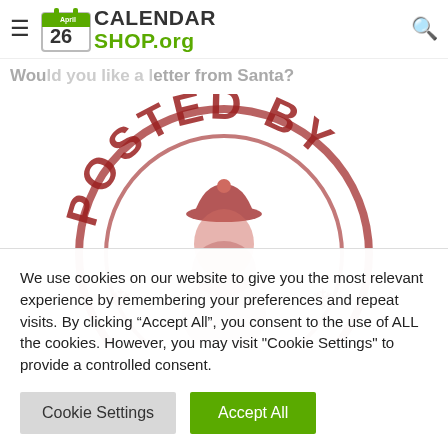CALENDAR SHOP.org
Would you like a letter from Santa?
[Figure (illustration): A red rubber stamp image showing 'POSTED BY' text in an arc at the top and a figure of Santa Claus in the center, with decorative snowflake elements at the bottom left and right.]
We use cookies on our website to give you the most relevant experience by remembering your preferences and repeat visits. By clicking “Accept All”, you consent to the use of ALL the cookies. However, you may visit "Cookie Settings" to provide a controlled consent.
Cookie Settings
Accept All